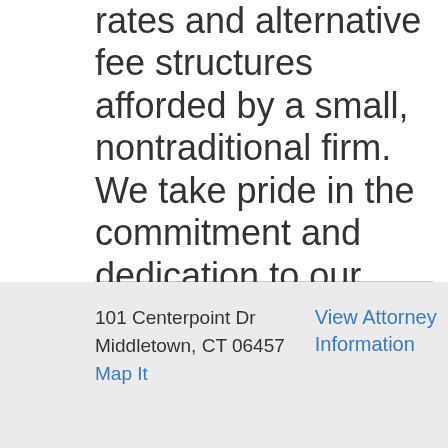rates and alternative fee structures afforded by a small, nontraditional firm. We take pride in the commitment and dedication to our client's legal proble
101 Centerpoint Dr
Middletown, CT 06457
Map It
View Attorney Information